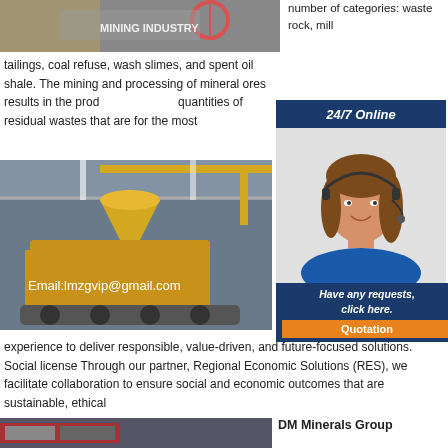[Figure (photo): Industrial machinery with circular element, mining equipment]
number of categories: waste rock, mill tailings, coal refuse, wash slimes, and spent oil shale. The mining and processing of mineral ores results in the production of large quantities of residual wastes that are for the most
[Figure (photo): Yellow mining/crushing equipment inside an industrial building]
Email:lmzgvip@gmail.com
[Figure (photo): Customer service agent woman with headset, 24/7 Online banner]
Coal... Engineering... Coal... world... mining... QC... knowledge and experience to deliver responsible, value-driven, and future-focused solutions. Social license Through our partner, Regional Economic Solutions (RES), we facilitate collaboration to ensure social and economic outcomes that are sustainable, ethical
[Figure (photo): Bottom image strip of mining equipment]
DM Minerals Group